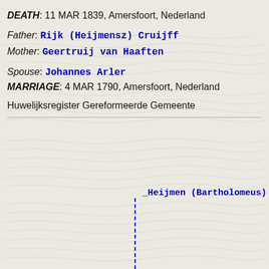DEATH: 11 MAR 1839, Amersfoort, Nederland
Father: Rijk (Heijmensz) Cruijff
Mother: Geertruij van Haaften
Spouse: Johannes Arler
MARRIAGE: 4 MAR 1790, Amersfoort, Nederland
Huwelijksregister Gereformeerde Gemeente
_Heijmen (Bartholomeus)